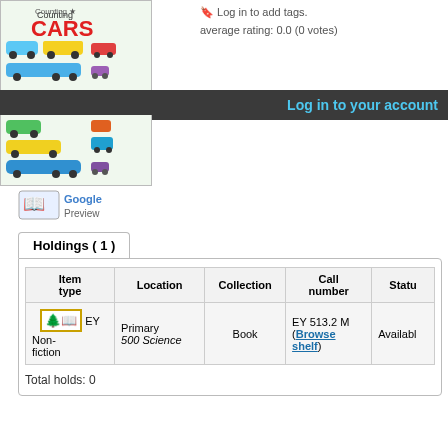[Figure (illustration): Book cover for 'Counting CARS' showing colorful cartoon cars and vehicles]
Log in to add tags.
average rating: 0.0 (0 votes)
Log in to your account
[Figure (logo): Google Preview button with book icon and Google logo]
Holdings ( 1 )
| Item type | Location | Collection | Call number | Status |
| --- | --- | --- | --- | --- |
| EY Non-fiction | Primary 500 Science | Book | EY 513.2 M (Browse shelf) | Available |
Total holds: 0